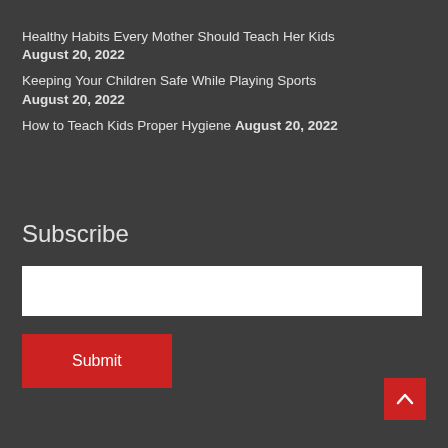Healthy Habits Every Mother Should Teach Her Kids
August 20, 2022
Keeping Your Children Safe While Playing Sports
August 20, 2022
How to Teach Kids Proper Hygiene August 20, 2022
Subscribe
[email input field]
Submit